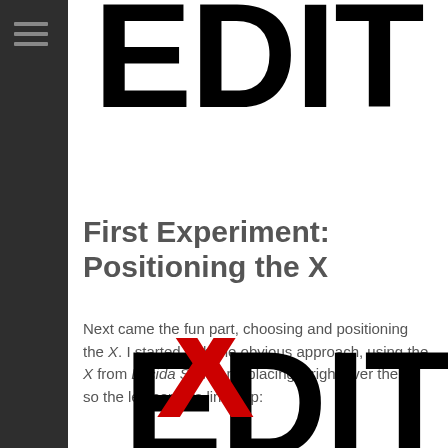[Figure (illustration): Large bold black text spelling EDIT at the top of the page, cropped so only the upper portion is visible]
First Experiment: Positioning the X
Next came the fun part, choosing and positioning the X. I started with the obvious approach, using the X from Lucida Sans and placing it right over the D so the left corners lined up:
[Figure (illustration): Large bold black text spelling EDIT at the bottom of the page, with a red X overlaid on top of the D character, partially cropped at the bottom]